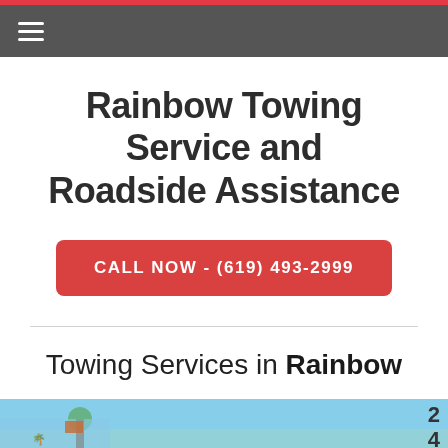Rainbow Towing Service and Roadside Assistance
CALL NOW - (619) 493-2999
Towing Services in Rainbow
[Figure (photo): Street scene photo with palm trees and blue sky, partially visible at the bottom of the page]